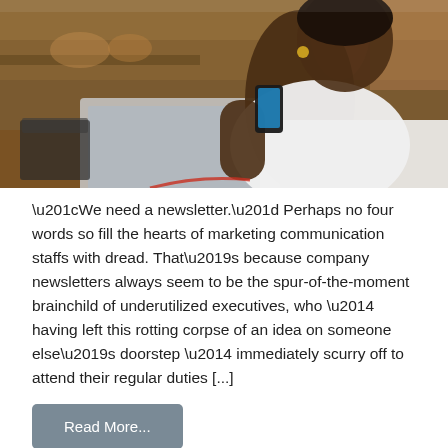[Figure (photo): A woman in a white shirt sitting at a table in a cafe, holding a smartphone and working on a laptop. Warm blurred background of a restaurant or bakery setting.]
“We need a newsletter.” Perhaps no four words so fill the hearts of marketing communication staffs with dread. That’s because company newsletters always seem to be the spur-of-the-moment brainchild of underutilized executives, who — having left this rotting corpse of an idea on someone else’s doorstep — immediately scurry off to attend their regular duties [...]
Read More...
Posted in Business Development, Content Marketing,